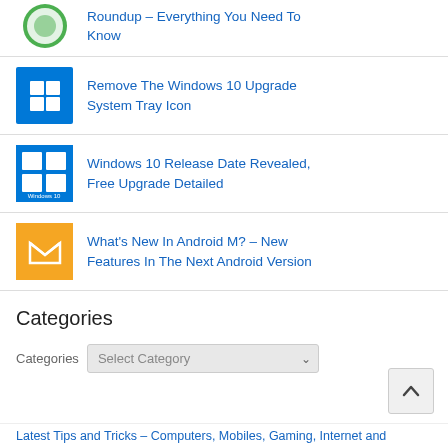Roundup – Everything You Need To Know
Remove The Windows 10 Upgrade System Tray Icon
Windows 10 Release Date Revealed, Free Upgrade Detailed
What's New In Android M? – New Features In The Next Android Version
Categories
Categories  Select Category
Latest Tips and Tricks – Computers, Mobiles, Gaming, Internet and